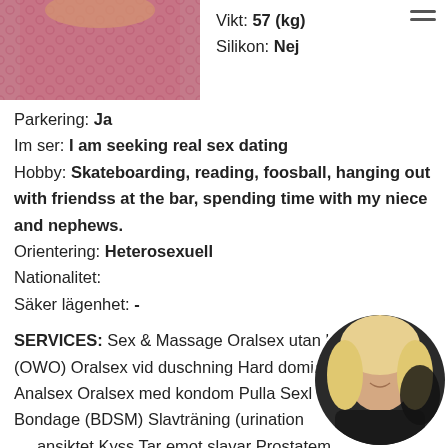[Figure (photo): Cropped photo of a person wearing pink/red lace top, upper body only]
Vikt: 57 (kg)
Silikon: Nej
Parkering: Ja
Im ser: I am seeking real sex dating
Hobby: Skateboarding, reading, foosball, hanging out with friendss at the bar, spending time with my niece and nephews.
Orientering: Heterosexuell
Nationalitet:
Säker lägenhet: -
SERVICES: Sex & Massage Oralsex utan kondom (OWO) Oralsex vid duschning Hard dominant Uniforms Analsex Oralsex med kondom Pulla Sexleksaker Bondage (BDSM) Slavträning (urination) Sperma på ansiktet Kyss Tar emot slavar Prostatemassage Anal stretching Tortyr Deepthroat (djupt i halsen) tillsammans Glidande massage
[Figure (photo): Circular cropped photo of a person with blonde hair, smiling, wearing dark clothing]